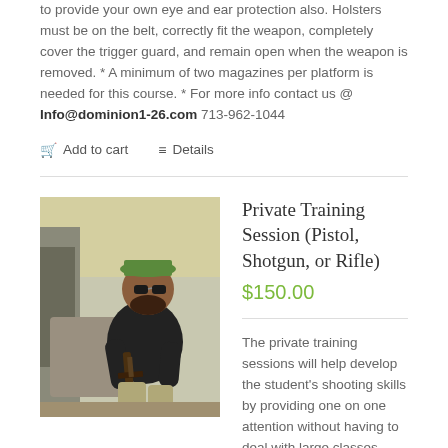to provide your own eye and ear protection also. Holsters must be on the belt, correctly fit the weapon, completely cover the trigger guard, and remain open when the weapon is removed. * A minimum of two magazines per platform is needed for this course. * For more info contact us @ Info@dominion1-26.com 713-962-1044
Add to cart
Details
[Figure (photo): Man in tactical gear sitting in vehicle door with rifle]
Private Training Session (Pistol, Shotgun, or Rifle)
$150.00
The private training sessions will help develop the student's shooting skills by providing one on one attention without having to deal with large classes